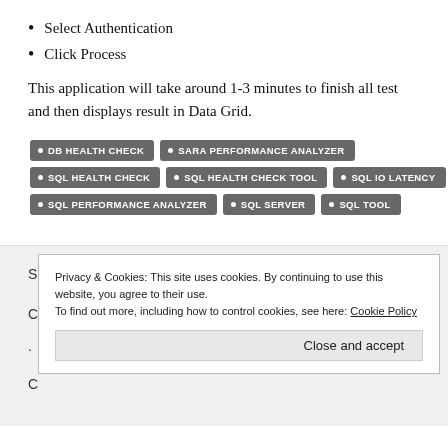Select Authentication
Click Process
This application will take around 1-3 minutes to finish all test and then displays result in Data Grid.
[Figure (infographic): A group of dark grey tag/badge labels: DB HEALTH CHECK, SARA PERFORMANCE ANALYZER, SQL HEALTH CHECK, SQL HEALTH CHECK TOOL, SQL IO LATENCY, SQL PERFORMANCE ANALYZER, SQL SERVER, SQL TOOL]
Privacy & Cookies: This site uses cookies. By continuing to use this website, you agree to their use. To find out more, including how to control cookies, see here: Cookie Policy
Close and accept